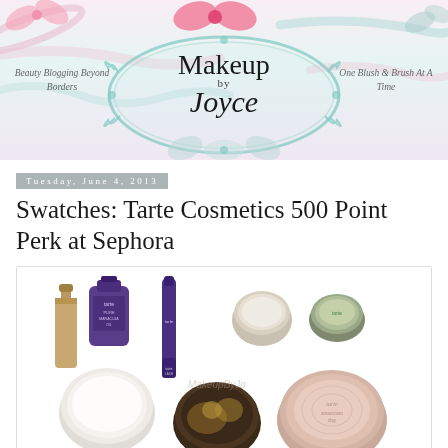[Figure (illustration): Makeup by Joyce blog header banner with pink bow, floral decorative frame around the blog name 'Makeup by Joyce', pastel pink and mint green gradient background with ribbon accents. Left text: 'Beauty Blogging Beyond Borders', right text: 'One Blush & Brush At A Time']
Tuesday, June 4, 2013
Swatches: Tarte Cosmetics 500 Point Perk at Sephora
[Figure (photo): Flat lay photo of Tarte Cosmetics products on white background: a foundation/serum bottle, a purple bottle of Pure Maracuja Oil, a purple mascara tube, two small open cream jars (one white, one with dark product), a rose-gold compact powder, and a small green jar. Watermark reads 'MakeupByJo' in center.]